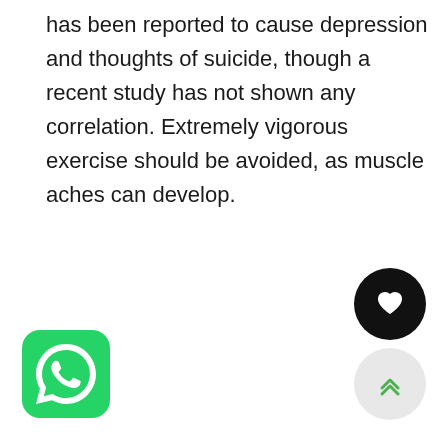has been reported to cause depression and thoughts of suicide, though a recent study has not shown any correlation. Extremely vigorous exercise should be avoided, as muscle aches can develop.
[Figure (logo): WhatsApp app icon — green rounded square with white phone/chat bubble logo]
[Figure (other): Black circular button with white heart icon]
[Figure (other): Light grey circular button with green double chevron up arrow]